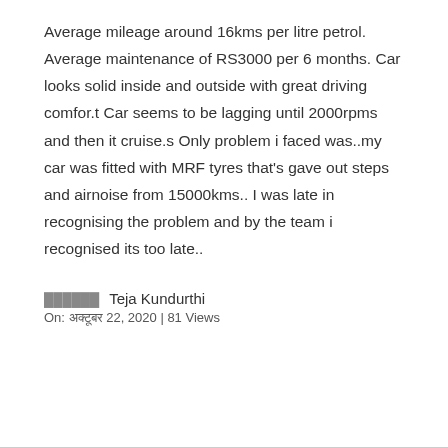Average mileage around 16kms per litre petrol. Average maintenance of RS3000 per 6 months. Car looks solid inside and outside with great driving comfor.t Car seems to be lagging until 2000rpms and then it cruise.s Only problem i faced was..my car was fitted with MRF tyres that's gave out steps and airnoise from 15000kms.. I was late in recognising the problem and by the team i recognised its too late..
★★★★★ Teja Kundurthi
On: अक्टूबर 22, 2020 | 81 Views